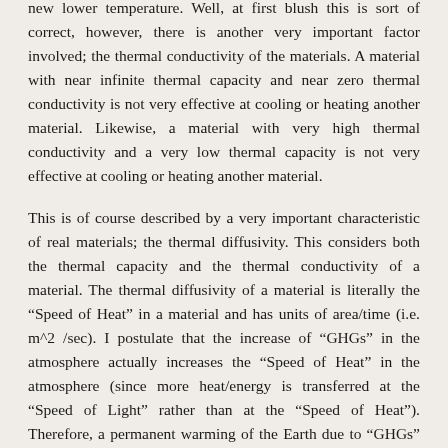new lower temperature. Well, at first blush this is sort of correct, however, there is another very important factor involved; the thermal conductivity of the materials. A material with near infinite thermal capacity and near zero thermal conductivity is not very effective at cooling or heating another material. Likewise, a material with very high thermal conductivity and a very low thermal capacity is not very effective at cooling or heating another material.
This is of course described by a very important characteristic of real materials; the thermal diffusivity. This considers both the thermal capacity and the thermal conductivity of a material. The thermal diffusivity of a material is literally the “Speed of Heat” in a material and has units of area/time (i.e. m^2 /sec). I postulate that the increase of “GHGs” in the atmosphere actually increases the “Speed of Heat” in the atmosphere (since more heat/energy is transferred at the “Speed of Light” rather than at the “Speed of Heat”). Therefore, a permanent warming of the Earth due to “GHGs” is impossible.
Note that when Engineers want to move heat quickly (i.e. cool a microprocessor or laser diode) the